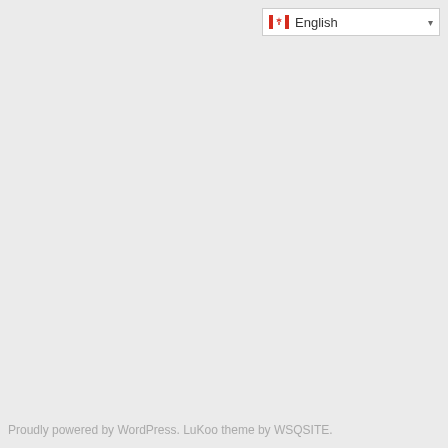[Figure (screenshot): Language selector dropdown showing Canadian flag icon and 'English' text with a dropdown arrow, on a white background with light gray border]
Proudly powered by WordPress. LuKoo theme by WSQSITE.